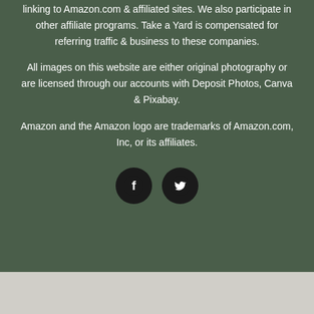linking to Amazon.com & affiliated sites. We also participate in other affiliate programs. Take a Yard is compensated for referring traffic & business to these companies.
All images on this website are either original photography or are licensed through our accounts with Deposit Photos, Canva & Pixabay.
Amazon and the Amazon logo are trademarks of Amazon.com, Inc, or its affiliates.
[Figure (illustration): Social media icons: Facebook (F) and Twitter (bird) circular dark buttons]